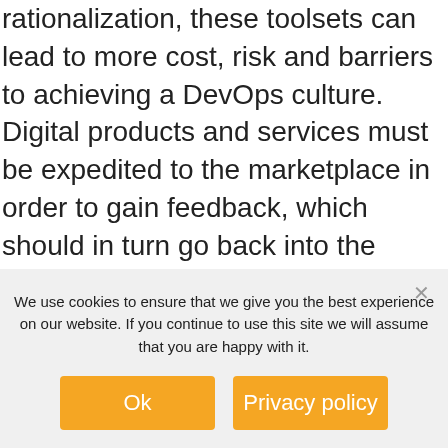rationalization, these toolsets can lead to more cost, risk and barriers to achieving a DevOps culture. Digital products and services must be expedited to the marketplace in order to gain feedback, which should in turn go back into the product development process.
Tools of the (DevOps) Trade
Jenkins
Jenkins is an open source automation server used
We use cookies to ensure that we give you the best experience on our website. If you continue to use this site we will assume that you are happy with it.